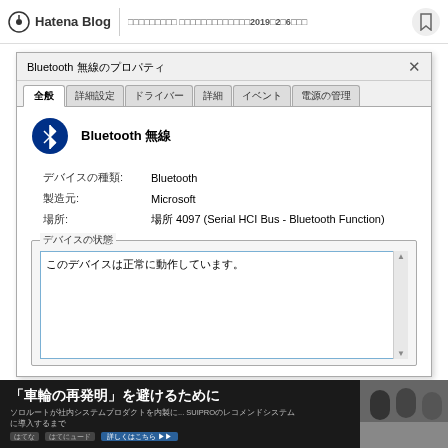Hatena Blog　□□□□□□□□□ □□□□□□□□□□□□□2019□2□6□□□
[Figure (screenshot): Windows Bluetooth device properties dialog showing: title 'Bluetooth 無線のプロパティ', tabs (全般, 詳細設定, ドライバー, 詳細, イベント, 電源の管理), Bluetooth icon, device name 'Bluetooth 無線', properties (デバイスの種類: Bluetooth, 製造元: Microsoft, 場所: 場所 4097 (Serial HCI Bus - Bluetooth Function)), device status box with text 'このデバイスは正常に動作しています。']
[Figure (infographic): Advertisement banner: '「車輪の再発明」を避けるために' with smaller text and a group photo on the right]